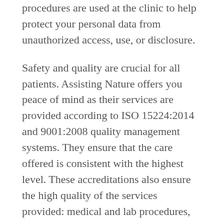procedures are used at the clinic to help protect your personal data from unauthorized access, use, or disclosure.
Safety and quality are crucial for all patients. Assisting Nature offers you peace of mind as their services are provided according to ISO 15224:2014 and 9001:2008 quality management systems. They ensure that the care offered is consistent with the highest level. These accreditations also ensure the high quality of the services provided: medical and lab procedures, nursing services, processing and storage of personal medical data, supplies quality, environment quality, and adequacy of facilities, security, and staff training. They also hold EU TE CODE GR 007651 from the Greek National Authority of Medical Assisted Reproduction.